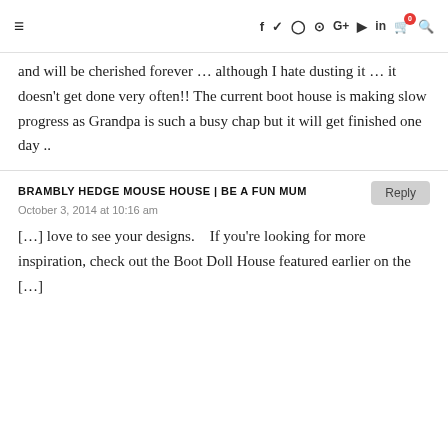≡   f  ✓  ◎  ⊕  G+  ▶  in  🛒0  🔍
and will be cherished forever … although I hate dusting it … it doesn't get done very often!! The current boot house is making slow progress as Grandpa is such a busy chap but it will get finished one day ..
BRAMBLY HEDGE MOUSE HOUSE | BE A FUN MUM
October 3, 2014 at 10:16 am
[…] love to see your designs.    If you're looking for more inspiration, check out the Boot Doll House featured earlier on the […]